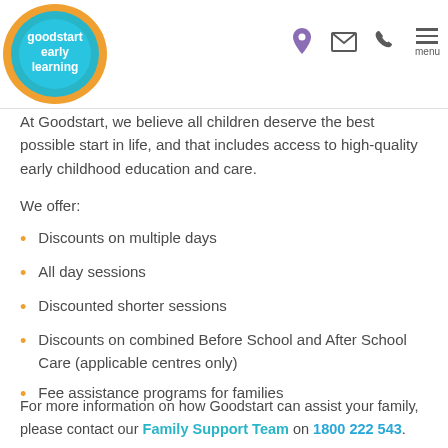[Figure (logo): Goodstart Early Learning logo — circular badge with teal/blue/orange colours and white text reading 'goodstart early learning']
At Goodstart, we believe all children deserve the best possible start in life, and that includes access to high-quality early childhood education and care.
We offer:
Discounts on multiple days
All day sessions
Discounted shorter sessions
Discounts on combined Before School and After School Care (applicable centres only)
Fee assistance programs for families
For more information on how Goodstart can assist your family, please contact our Family Support Team on 1800 222 543.